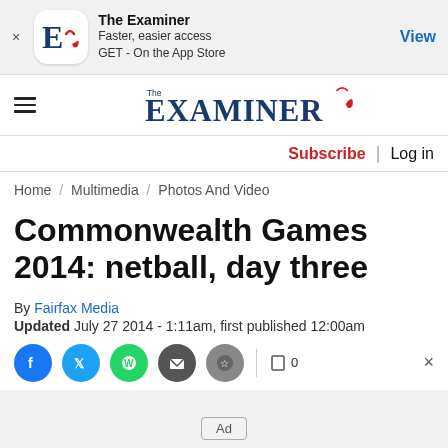[Figure (screenshot): App install banner for The Examiner app with icon, text and View button]
[Figure (logo): The Examiner newspaper logo with hamburger menu icon]
Subscribe | Log in
Home / Multimedia / Photos And Video
Commonwealth Games 2014: netball, day three
By Fairfax Media
Updated July 27 2014 - 1:11am, first published 12:00am
[Figure (screenshot): Social sharing icons row: Facebook, Twitter, WhatsApp, Email, Bookmark and close button]
Ad